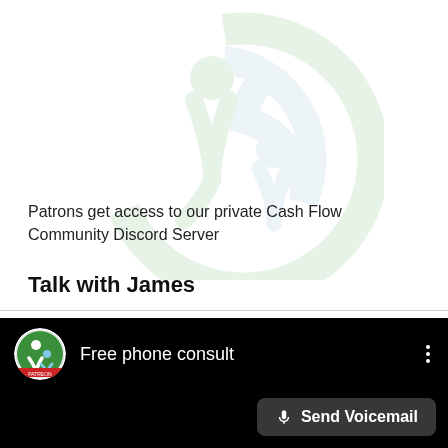[Figure (logo): Large faded watermark logo: circular green and blue figures icon for Cash Flow Community]
Patrons get access to our private Cash Flow Community Discord Server
Talk with James
[Figure (screenshot): Video player with black background showing 'Free phone consult' title and a circular logo icon on left, three-dot menu on right, and a 'Send Voicemail' button at bottom right]